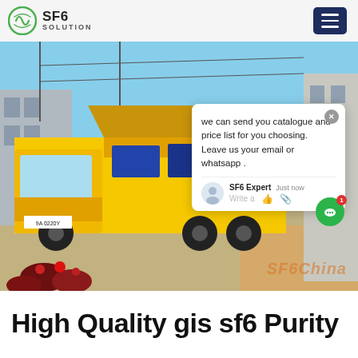[Figure (logo): SF6 Solution company logo with green circular icon and text SF6 SOLUTION]
[Figure (photo): Yellow Isuzu truck with equipment loaded on a flatbed trailer, parked in an industrial area with blue sky. A chat popup overlay is visible with message: 'we can send you catalogue and price list for you choosing. Leave us your email or whatsapp .' Signed by SF6 Expert, just now. A green chat button with badge '1' is floating on the right.]
High Quality gis sf6 Purity